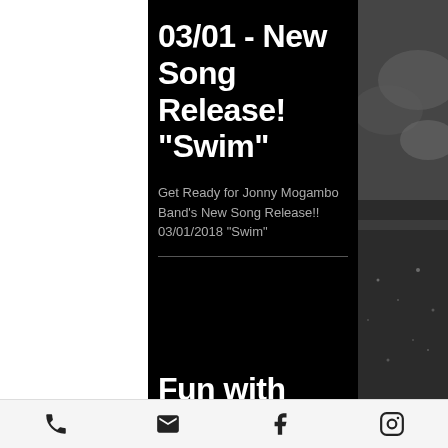03/01 - New Song Release! "Swim"
Get Ready for Jonny Mogambo Band's New Song Release!! 03/01/2018 "Swim"
Fun with Jonny Mogambo @ Solo
phone | email | facebook | instagram